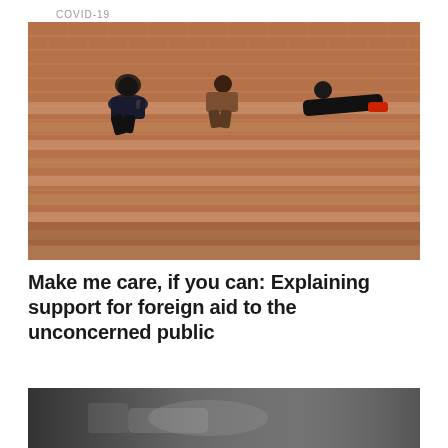COVID-19
[Figure (photo): Three people sitting and lying on brick steps against a large brick wall. One person sits on the left looking at a phone, another sits in the middle, and a third lies on the right side. The brick steps have a reddish-brown texture.]
Make me care, if you can: Explaining support for foreign aid to the unconcerned public
[Figure (photo): Partial view of a dark, blurred urban scene, possibly showing a road or street with vehicles, in muted grey tones.]